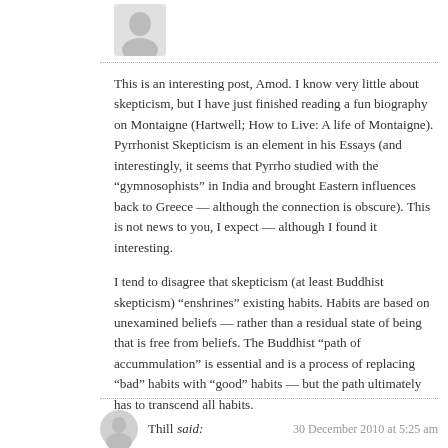[Figure (illustration): Grey silhouette avatar icon of a person, top of comment thread]
This is an interesting post, Amod. I know very little about skepticism, but I have just finished reading a fun biography on Montaigne (Hartwell; How to Live: A life of Montaigne). Pyrrhonist Skepticism is an element in his Essays (and interestingly, it seems that Pyrrho studied with the “gymnosophists” in India and brought Eastern influences back to Greece — although the connection is obscure). This is not news to you, I expect — although I found it interesting.
I tend to disagree that skepticism (at least Buddhist skepticism) “enshrines” existing habits. Habits are based on unexamined beliefs — rather than a residual state of being that is free from beliefs. The Buddhist “path of accummulation” is essential and is a process of replacing “bad” habits with “good” habits — but the path ultimately has to transcend all habits.
[Figure (illustration): Grey circular avatar icon of a person, bottom comment attribution]
Thill said: 30 December 2010 at 5:25 am